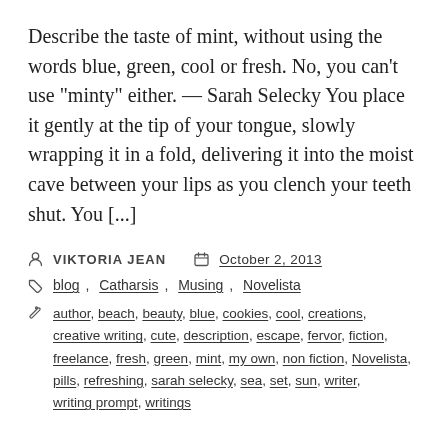Describe the taste of mint, without using the words blue, green, cool or fresh. No, you can't use "minty" either. — Sarah Selecky You place it gently at the tip of your tongue, slowly wrapping it in a fold, delivering it into the moist cave between your lips as you clench your teeth shut. You [...]
VIKTORIA JEAN   October 2, 2013
blog, Catharsis, Musing, Novelista
author, beach, beauty, blue, cookies, cool, creations, creative writing, cute, description, escape, fervor, fiction, freelance, fresh, green, mint, my own, non fiction, Novelista, pills, refreshing, sarah selecky, sea, set, sun, writer, writing prompt, writings